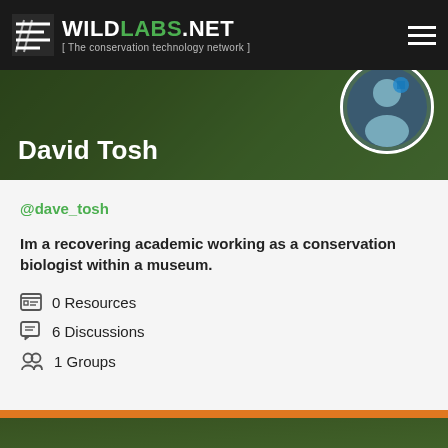WILDLABS.NET [ The conservation technology network ]
David Tosh
@dave_tosh
Im a recovering academic working as a conservation biologist within a museum.
0 Resources
6 Discussions
1 Groups